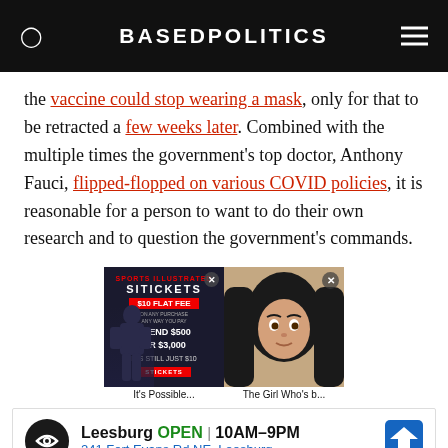BASEDPOLITICS
the vaccine could stop wearing a mask, only for that to be retracted a few weeks later. Combined with the multiple times the government's top doctor, Anthony Fauci, flipped-flopped on various COVID policies, it is reasonable for a person to want to do their own research and to question the government's commands.
[Figure (screenshot): Two advertisement images side by side. Left: SI Tickets ad with $10 Flat Fee promotion, showing football player silhouette, spend $500 or $3,000 it's still just $10, with STICKETS button and close X. Right: Photo of a young woman with dark hair, with close X button.]
It's Possible... The Girl Who's b...
[Figure (screenshot): Google Maps style advertisement banner showing Leesburg location, OPEN 10AM-9PM, 241 Fort Evans Rd NE, Leesburg, with navigation icon and business logo.]